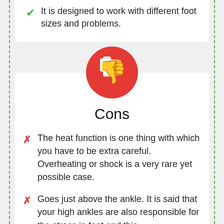It is designed to work with different foot sizes and problems.
[Figure (illustration): Red circle with white thumbs-down icon representing Cons section]
Cons
The heat function is one thing with which you have to be extra careful. Overheating or shock is a very rare yet possible case.
Goes just above the ankle. It is said that your high ankles are also responsible for the stress in foot and this